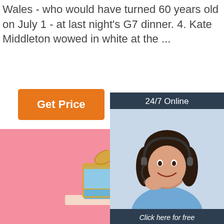Wales - who would have turned 60 years old on July 1 - at last night's G7 dinner. 4. Kate Middleton wowed in white at the ...
[Figure (other): Orange 'Get Price' button]
[Figure (other): 24/7 Online chat widget with customer service representative photo, 'Click here for free chat!' text, and orange QUOTATION button]
[Figure (other): Pink background product section with a gold and blue gift box brooch/jewelry item on a pink surface, and a red TOP logo in the lower right corner]